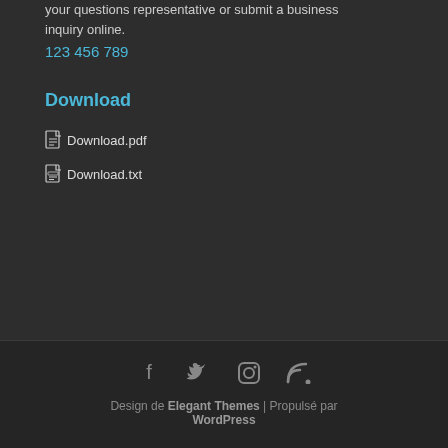your questions representative or submit a business inquiry online.
123 456 789
Download
Download.pdf
Download.txt
Design de Elegant Themes | Propulsé par WordPress